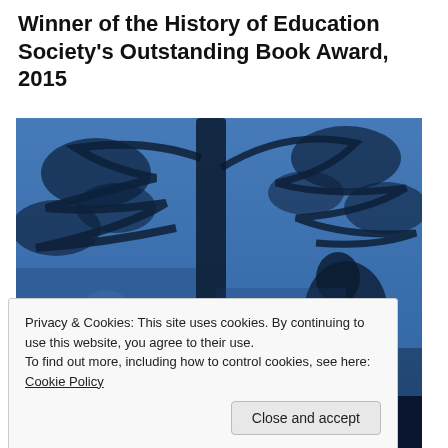Winner of the History of Education Society's Outstanding Book Award, 2015
[Figure (photo): Blue-tinted photograph showing a tree with branches and a silhouette of a person's head, likely a book cover image.]
Privacy & Cookies: This site uses cookies. By continuing to use this website, you agree to their use.
To find out more, including how to control cookies, see here: Cookie Policy
Close and accept
[Figure (photo): Bottom portion of a book cover showing text 'school reformers' in dark text on dark blue background.]